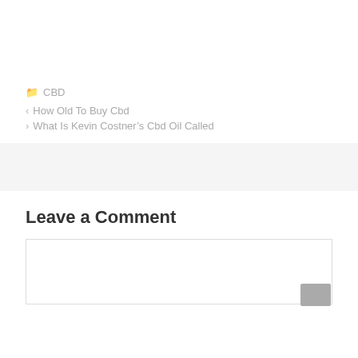CBD
How Old To Buy Cbd
What Is Kevin Costner's Cbd Oil Called
Leave a Comment